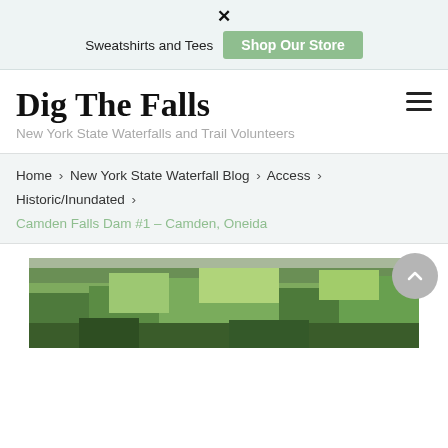× Sweatshirts and Tees Shop Our Store
Dig The Falls
New York State Waterfalls and Trail Volunteers
Home › New York State Waterfall Blog › Access › Historic/Inundated › Camden Falls Dam #1 – Camden, Oneida
[Figure (photo): Outdoor nature/forest photo showing green trees and vegetation, likely near a waterfall or dam site.]